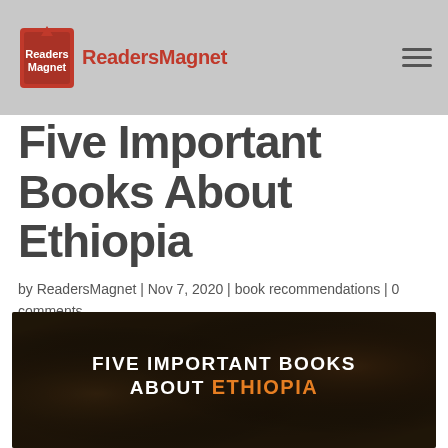ReadersMagnet
Five Important Books About Ethiopia
by ReadersMagnet | Nov 7, 2020 | book recommendations | 0 comments
[Figure (photo): Group of children with text overlay reading 'FIVE IMPORTANT BOOKS ABOUT ETHIOPIA' where 'ETHIOPIA' is highlighted in orange]